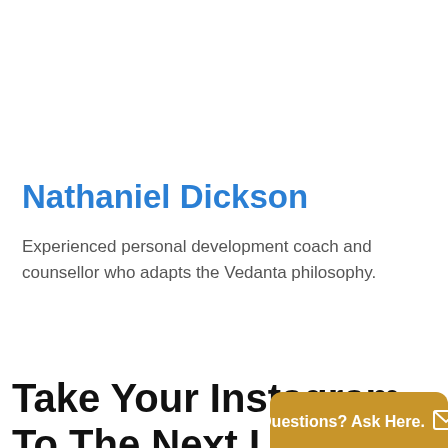Nathaniel Dickson
Experienced personal development coach and counsellor who adapts the Vedanta philosophy.
Take Your Instagram To The Next Level
[Figure (other): Orange/tan chat button widget with text 'Questions? Ask Here.' and an envelope icon]